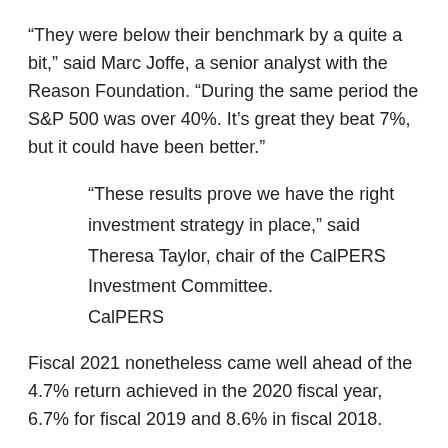“They were below their benchmark by a quite a bit,” said Marc Joffe, a senior analyst with the Reason Foundation. “During the same period the S&P 500 was over 40%. It’s great they beat 7%, but it could have been better.”
“These results prove we have the right investment strategy in place,” said Theresa Taylor, chair of the CalPERS Investment Committee.
CalPERS
Fiscal 2021 nonetheless came well ahead of the 4.7% return achieved in the 2020 fiscal year, 6.7% for fiscal 2019 and 8.6% in fiscal 2018.
The strong performance may ease pressure on California